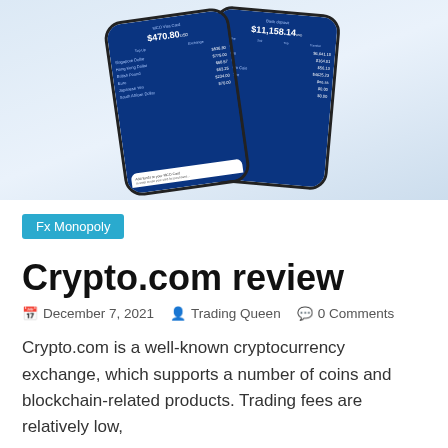[Figure (photo): Two smartphone screens showing the Crypto.com app interface with dark blue UI, displaying account balances and currency exchange rates. One phone shows $470.80 USD balance, the other shows $11,158.14 USD.]
Fx Monopoly
Crypto.com review
December 7, 2021   Trading Queen   0 Comments
Crypto.com is a well-known cryptocurrency exchange, which supports a number of coins and blockchain-related products. Trading fees are relatively low,
Read more